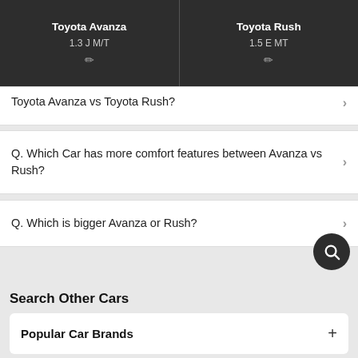Toyota Avanza | 1.3 J M/T | Toyota Rush | 1.5 E MT
Toyota Avanza vs Toyota Rush?
Q. Which Car has more comfort features between Avanza vs Rush?
Q. Which is bigger Avanza or Rush?
Search Other Cars
Popular Car Brands